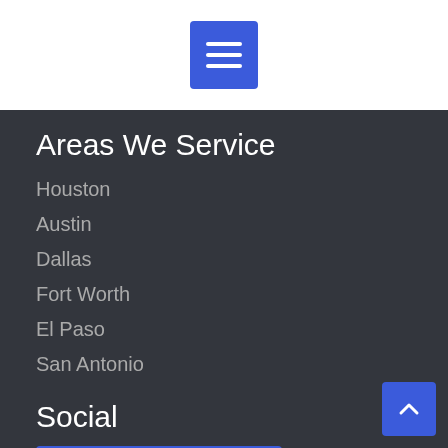[Figure (screenshot): Blue hamburger menu button with three white horizontal lines on white background]
Areas We Service
Houston
Austin
Dallas
Fort Worth
El Paso
San Antonio
Social
[Figure (screenshot): Facebook button with blue background and Facebooks label]
[Figure (screenshot): Scroll to top button with blue background and upward chevron]